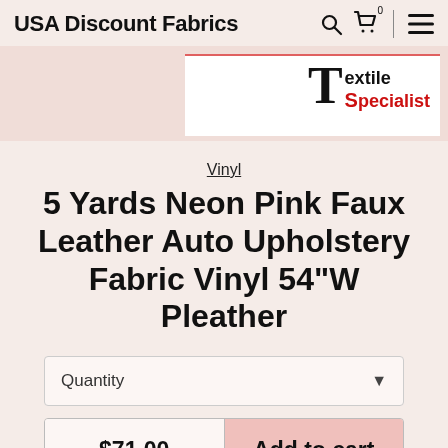USA Discount Fabrics
[Figure (logo): Textile Specialist logo with large T and red S lettering]
Vinyl
5 Yards Neon Pink Faux Leather Auto Upholstery Fabric Vinyl 54"W Pleather
Quantity
$71.00  Add to cart